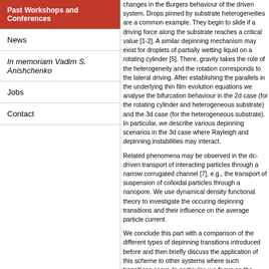Past Workshops and Conferences
News
In memoriam Vadim S. Anishchenko
Jobs
Contact
changes in the Burgers behaviour of the driven system. Drops pinned by substrate heterogeneities are a common example. They begin to slide if a driving force along the substrate reaches a critical value [1-2]. A similar depinning mechanism may exist for droplets of partially wetting liquid on a rotating cylinder [5]. There, gravity takes the role of the heterogeneity and the rotation corresponds to the lateral driving. After establishing the parallels in the underlying thin film evolution equations we analyse the bifurcation behaviour in the 2d case (for the rotating cylinder and heterogeneous substrate) and the 3d case (for the heterogeneous substrate). In particular, we describe various depinning scenarios in the 3d case where Rayleigh and depinning instabilities may interact.
Related phenomena may be observed in the dc-driven transport of interacting particles through a narrow corrugated channel [7], e.g., the transport of suspension of colloidal particles through a nanopore. We use dynamical density functional theory to investigate the occuring depinnng transitions and their influence on the average particle current.
We conclude this part with a comparison of the different types of depinning transitions introduced before and then briefly discuss the application of this scheme to other systems where such transitions occur. In particular, we focus on the deposition of patterns at (i) at receding three-phase contact lines in evaporating solutions [5] and (ii) in the Langmuir-Blodgett transfer of surfactant monolayers [6].
[1] U. Thiele and E. Knobloch, Phys. Rev. Lett. 97, 204501 (2006); New J. Phys. 8, 313 (2006). [2] P. Beltrame, P. Hanggi and U. Thiele, Europh. Lett. 86, 24006 (2009); P. Beltrame, E. Knobloch...